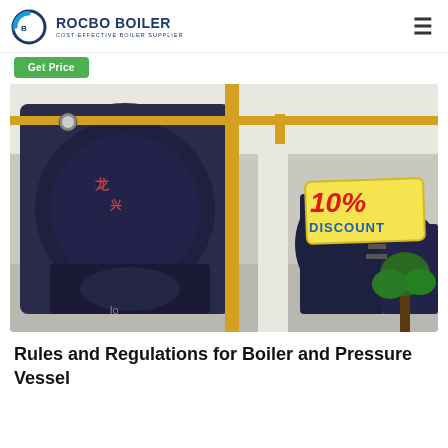ROCBO BOILER — COST-EFFECTIVE BOILER SUPPLIER
[Figure (logo): Rocbo Boiler logo with circular arc emblem and text 'ROCBO BOILER / COST-EFFECTIVE BOILER SUPPLIER']
Get Price
[Figure (photo): Industrial boiler room showing large dark blue cylindrical boilers with yellow pipework and a '10% DISCOUNT' badge overlay in the top right corner]
Rules and Regulations for Boiler and Pressure Vessel